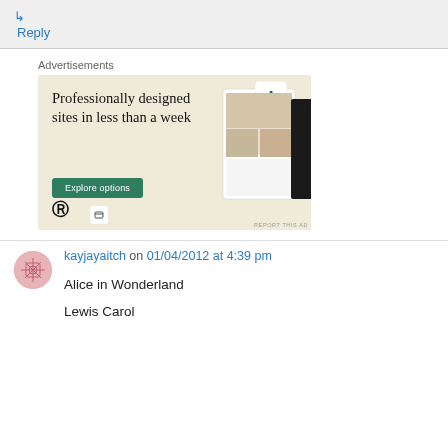↳ Reply
Advertisements
[Figure (screenshot): WordPress advertisement showing 'Professionally designed sites in less than a week' with an Explore options button and website/app mockup screens on a beige background.]
kayjayaitch on 01/04/2012 at 4:39 pm
Alice in Wonderland
Lewis Carol